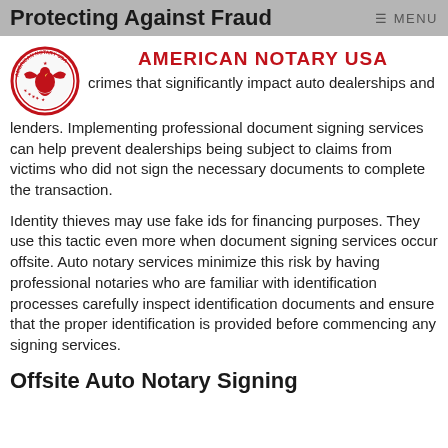≡ MENU  Protecting Against Fraud
[Figure (logo): American Notary USA circular logo with eagle emblem in red and white]
AMERICAN NOTARY USA
crimes that significantly impact auto dealerships and lenders. Implementing professional document signing services can help prevent dealerships being subject to claims from victims who did not sign the necessary documents to complete the transaction.
Identity thieves may use fake ids for financing purposes. They use this tactic even more when document signing services occur offsite. Auto notary services minimize this risk by having professional notaries who are familiar with identification processes carefully inspect identification documents and ensure that the proper identification is provided before commencing any signing services.
Offsite Auto Notary Signing